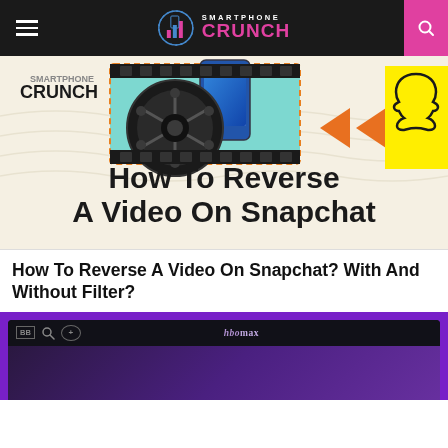Smartphone Crunch
[Figure (illustration): How To Reverse A Video On Snapchat - illustrated graphic with film reel, smartphone, orange rewind arrows, and Snapchat ghost logo on yellow background]
How To Reverse A Video On Snapchat? With And Without Filter?
[Figure (screenshot): Bottom preview of an HBO Max app screenshot with dark UI and purple background]